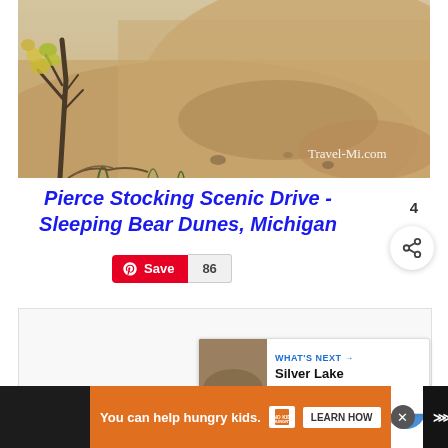[Figure (photo): Sand dune landscape with sparse dry trees and vegetation, Travel-Mi.com watermark in bottom right]
Pierce Stocking Scenic Drive - Sleeping Bear Dunes, Michigan
[Figure (screenshot): Pinterest Save button with count 86, heart/like button showing 4 likes, and share button]
[Figure (screenshot): WHAT'S NEXT panel showing Silver Lake Michigan Sa... thumbnail]
[Figure (screenshot): Ad banner: You can help hungry kids. No Kid Hungry. LEARN HOW]